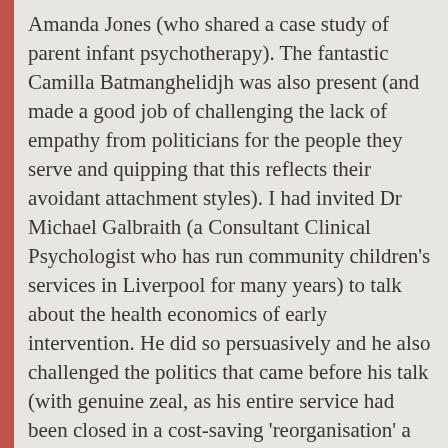Amanda Jones (who shared a case study of parent infant psychotherapy). The fantastic Camilla Batmanghelidjh was also present (and made a good job of challenging the lack of empathy from politicians for the people they serve and quipping that this reflects their avoidant attachment styles). I had invited Dr Michael Galbraith (a Consultant Clinical Psychologist who has run community children’s services in Liverpool for many years) to talk about the health economics of early intervention. He did so persuasively and he also challenged the politics that came before his talk (with genuine zeal, as his entire service had been closed in a cost-saving ‘reorganisation’ a few weeks prior to the conference). But the biggest draw was